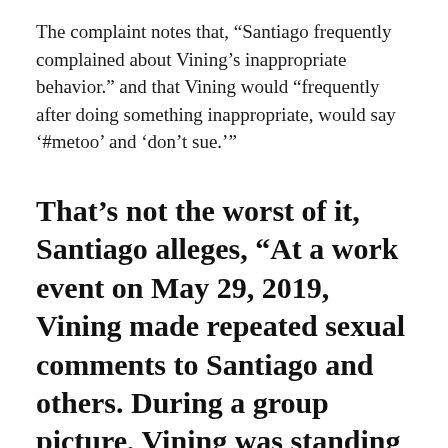The complaint notes that, “Santiago frequently complained about Vining’s inappropriate behavior.” and that Vining would “frequently after doing something inappropriate, would say ‘#metoo’ and ‘don’t sue.’”
That’s not the worst of it, Santiago alleges, “At a work event on May 29, 2019, Vining made repeated sexual comments to Santiago and others. During a group picture, Vining was standing next to Santiago. As the photographer took the picture, Vining pulled